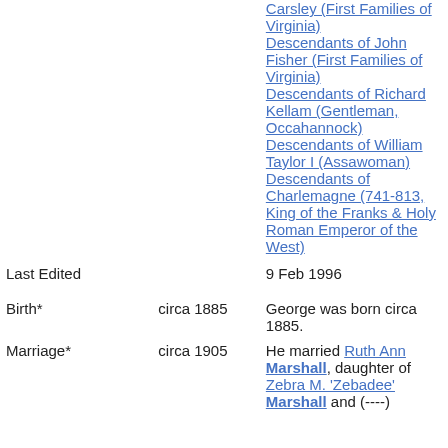Carsley (First Families of Virginia) Descendants of John Fisher (First Families of Virginia) Descendants of Richard Kellam (Gentleman, Occahannock) Descendants of William Taylor I (Assawoman) Descendants of Charlemagne (741-813, King of the Franks & Holy Roman Emperor of the West)
Last Edited | 9 Feb 1996
Birth* | circa 1885 | George was born circa 1885.
Marriage* | circa 1905 | He married Ruth Ann Marshall, daughter of Zebra M. 'Zebadee' Marshall and (----)